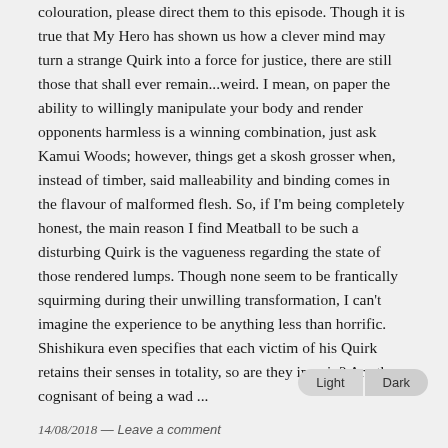colouration, please direct them to this episode. Though it is true that My Hero has shown us how a clever mind may turn a strange Quirk into a force for justice, there are still those that shall ever remain...weird. I mean, on paper the ability to willingly manipulate your body and render opponents harmless is a winning combination, just ask Kamui Woods; however, things get a skosh grosser when, instead of timber, said malleability and binding comes in the flavour of malformed flesh. So, if I'm being completely honest, the main reason I find Meatball to be such a disturbing Quirk is the vagueness regarding the state of those rendered lumps. Though none seem to be frantically squirming during their unwilling transformation, I can't imagine the experience to be anything less than horrific. Shishikura even specifies that each victim of his Quirk retains their senses in totality, so are they in pain? Are they cognisant of being a wad ...
14/08/2018 — Leave a comment